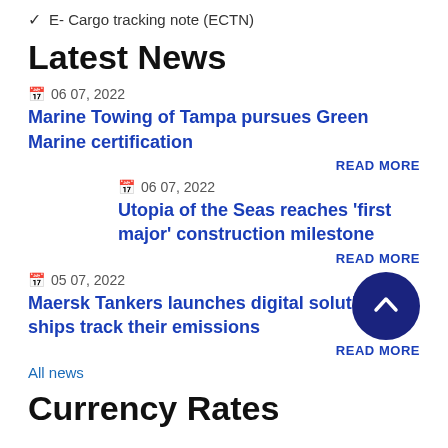✓ E- Cargo tracking note (ECTN)
Latest News
06 07, 2022
Marine Towing of Tampa pursues Green Marine certification
READ MORE
06 07, 2022
Utopia of the Seas reaches 'first major' construction milestone
READ MORE
05 07, 2022
Maersk Tankers launches digital solution ships track their emissions
READ MORE
All news
Currency Rates